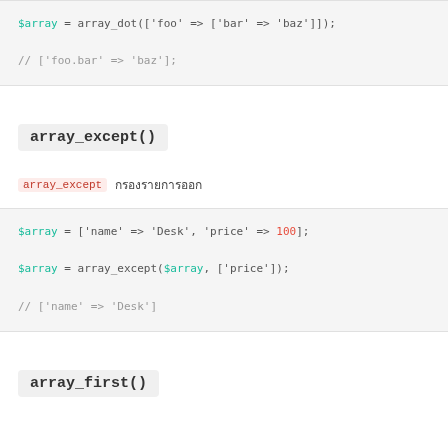[Figure (screenshot): Code block showing: $array = array_dot(['foo' => ['bar' => 'baz']]); and // ['foo.bar' => 'baz'];]
array_except()
array_except กรองรายการออก
[Figure (screenshot): Code block showing: $array = ['name' => 'Desk', 'price' => 100]; $array = array_except($array, ['price']); // ['name' => 'Desk']]
array_first()